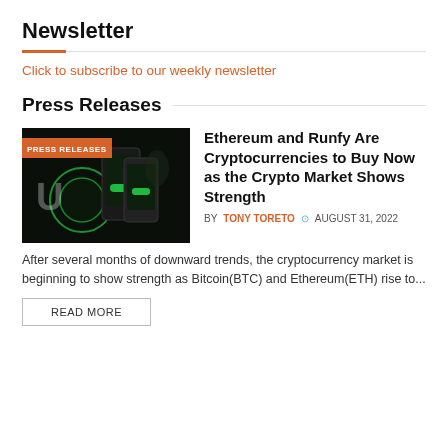Newsletter
Click to subscribe to our weekly newsletter
Press Releases
[Figure (photo): Dark background image with phone mockup showing green crypto app UI, labeled PRESS RELEASES in orange badge]
Ethereum and Runfy Are Cryptocurrencies to Buy Now as the Crypto Market Shows Strength
BY TONY TORETO  AUGUST 31, 2022
After several months of downward trends, the cryptocurrency market is beginning to show strength as Bitcoin(BTC) and Ethereum(ETH) rise to...
READ MORE